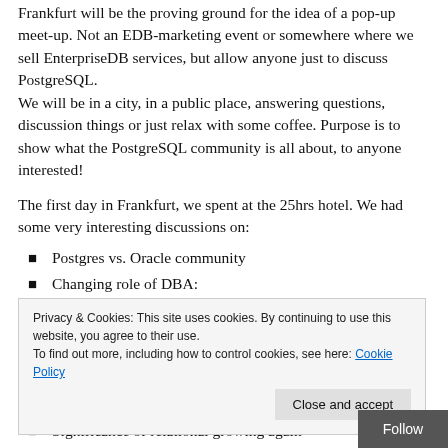Frankfurt will be the proving ground for the idea of a pop-up meet-up. Not an EDB-marketing event or somewhere where we sell EnterpriseDB services, but allow anyone just to discuss PostgreSQL.
We will be in a city, in a public place, answering questions, discussion things or just relax with some coffee. Purpose is to show what the PostgreSQL community is all about, to anyone interested!
The first day in Frankfurt, we spent at the 25hrs hotel. We had some very interesting discussions on:
Postgres vs. Oracle community
Changing role of DBA:
Privacy & Cookies: This site uses cookies. By continuing to use this website, you agree to their use.
To find out more, including how to control cookies, see here: Cookie Policy
Significance of relational growing again